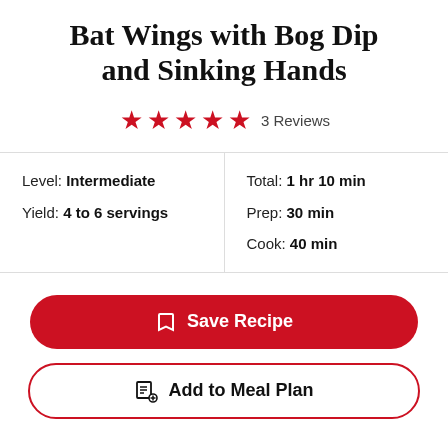Bat Wings with Bog Dip and Sinking Hands
★★★★★ 3 Reviews
| Level: Intermediate | Total: 1 hr 10 min |
| Yield: 4 to 6 servings | Prep: 30 min |
|  | Cook: 40 min |
Save Recipe
Add to Meal Plan